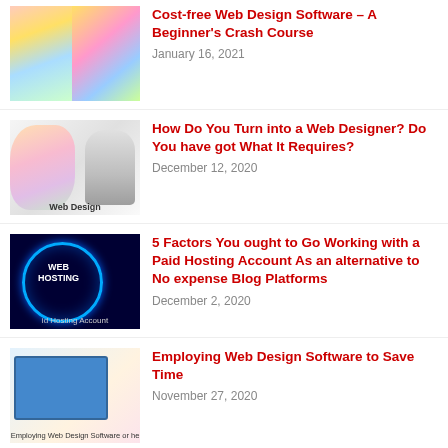Cost-free Web Design Software – A Beginner's Crash Course
January 16, 2021
How Do You Turn into a Web Designer? Do You have got What It Requires?
December 12, 2020
5 Factors You ought to Go Working with a Paid Hosting Account As an alternative to No expense Blog Platforms
December 2, 2020
Employing Web Design Software to Save Time
November 27, 2020